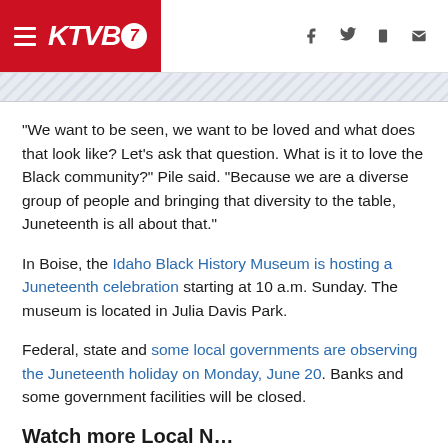KTVB7
"We want to be seen, we want to be loved and what does that look like? Let's ask that question. What is it to love the Black community?" Pile said. "Because we are a diverse group of people and bringing that diversity to the table, Juneteenth is all about that."
In Boise, the Idaho Black History Museum is hosting a Juneteenth celebration starting at 10 a.m. Sunday. The museum is located in Julia Davis Park.
Federal, state and some local governments are observing the Juneteenth holiday on Monday, June 20. Banks and some government facilities will be closed.
Watch more Local News